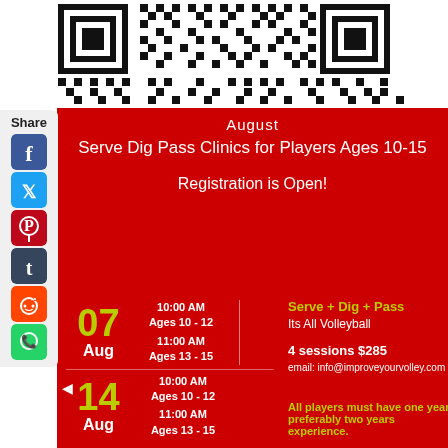[Figure (other): QR code black and white at top of page]
Share
[Figure (other): Social media share icons: Facebook, Twitter, Pinterest, Tumblr, Reddit, WhatsApp]
August
Serve Dig Pass Clinics for Players Ages 10-15
Registration is Open!
07
Aug
10:00 AM
Ages 10 - 12
11:00 AM
Ages 13 - 15
Serve + Dig + Pass
Its All Volleyball
4 sessions $285
email: info@improveyourvolley.com
14
Aug
10:00 AM
Ages 10 - 12
11:00 AM
Ages 13 - 15
All players must have one year preferably two years experience.